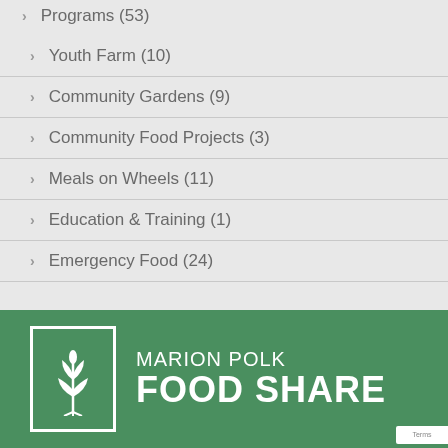Programs (53)
Youth Farm (10)
Community Gardens (9)
Community Food Projects (3)
Meals on Wheels (11)
Education & Training (1)
Emergency Food (24)
[Figure (logo): Marion Polk Food Share logo — white plant/wheat icon in a white-bordered rectangle on green background, with organization name to the right]